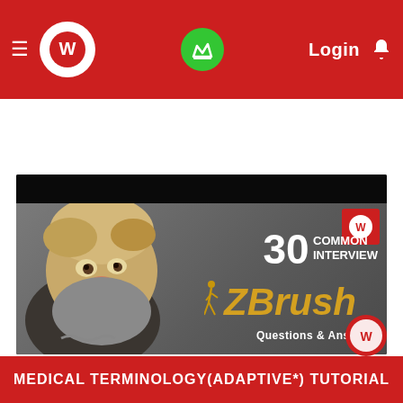≡ [W logo] [Crown icon] Login 🔔
Search for Jobs...
[Figure (screenshot): Thumbnail image showing a 3D character bust with text '30 COMMON INTERVIEW ZBrush Questions & Answers' overlay and a red logo in top right corner]
MEDICAL TERMINOLOGY(ADAPTIVE*) TUTORIAL